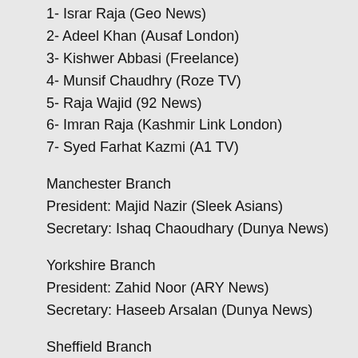1- Israr Raja (Geo News)
2- Adeel Khan (Ausaf London)
3- Kishwer Abbasi (Freelance)
4- Munsif Chaudhry (Roze TV)
5- Raja Wajid (92 News)
6- Imran Raja (Kashmir Link London)
7- Syed Farhat Kazmi (A1 TV)
Manchester Branch
President: Majid Nazir (Sleek Asians)
Secretary: Ishaq Chaoudhary (Dunya News)
Yorkshire Branch
President: Zahid Noor (ARY News)
Secretary: Haseeb Arsalan (Dunya News)
Sheffield Branch
President: Shafqat Mirza (Dunya News)
Secretary: Iffat Hameed (BBC Sheffield)
Luton Branch
President: Israr A Khan (The LutonAsian Post)